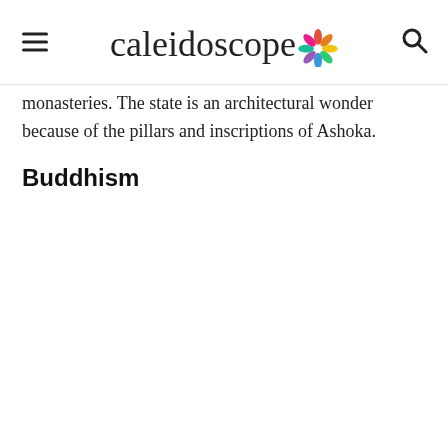Caleidoscope
monasteries. The state is an architectural wonder because of the pillars and inscriptions of Ashoka.
Buddhism